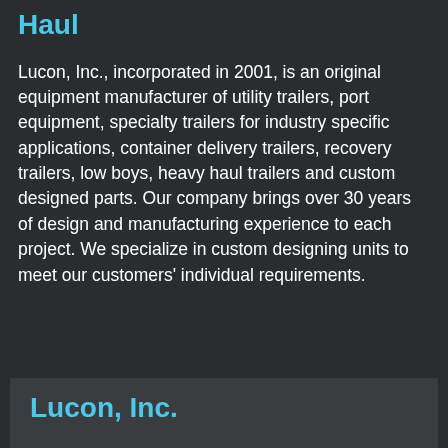Haul
Lucon, Inc., incorporated in 2001, is an original equipment manufacturer of utility trailers, port equipment, specialty trailers for industry specific applications, container delivery trailers, recovery trailers, low boys, heavy haul trailers and custom designed parts. Our company brings over 30 years of design and manufacturing experience to each project. We specialize in custom designing units to meet our customers' individual requirements.
Lucon, Inc.